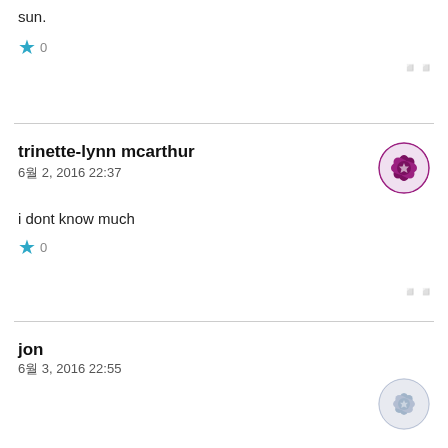sun.
★ 0
trinette-lynn mcarthur
6월 2, 2016 22:37
i dont know much
★ 0
jon
6월 3, 2016 22:55